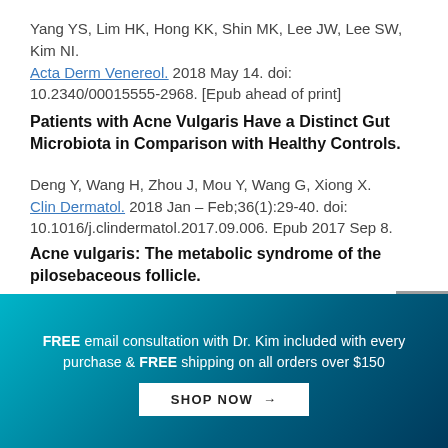Yang YS, Lim HK, Hong KK, Shin MK, Lee JW, Lee SW, Kim NI. Acta Derm Venereol. 2018 May 14. doi: 10.2340/00015555-2968. [Epub ahead of print]
Patients with Acne Vulgaris Have a Distinct Gut Microbiota in Comparison with Healthy Controls.
Deng Y, Wang H, Zhou J, Mou Y, Wang G, Xiong X. Clin Dermatol. 2018 Jan – Feb;36(1):29-40. doi: 10.1016/j.clindermatol.2017.09.006. Epub 2017 Sep 8.
Acne vulgaris: The metabolic syndrome of the pilosebaceous follicle.
FREE email consultation with Dr. Kim included with every purchase & FREE shipping on all orders over $150
SHOP NOW →